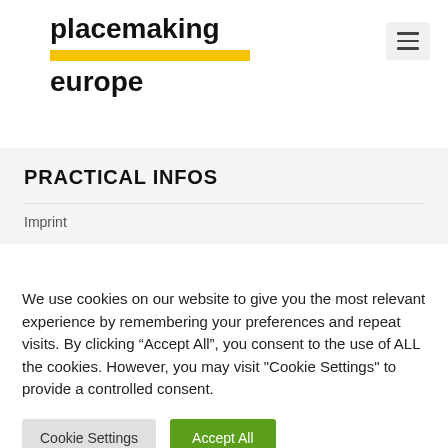placemaking europe
PRACTICAL INFOS
Imprint
We use cookies on our website to give you the most relevant experience by remembering your preferences and repeat visits. By clicking “Accept All”, you consent to the use of ALL the cookies. However, you may visit "Cookie Settings" to provide a controlled consent.
Cookie Settings | Accept All